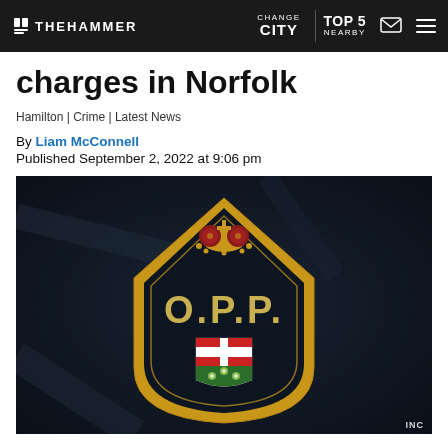THE HAMMER | CHANGE CITY | TOP 5 NEARBY
charges in Norfolk
Hamilton | Crime | Latest News
By Liam McConnell
Published September 2, 2022 at 9:06 pm
[Figure (photo): Close-up photo of an OPP (Ontario Provincial Police) badge on a dark navy uniform. The shield-shaped badge shows the O.P.P. text in gold letters, Ontario coat of arms at the bottom, and royal crown at the top, with a gold border.]